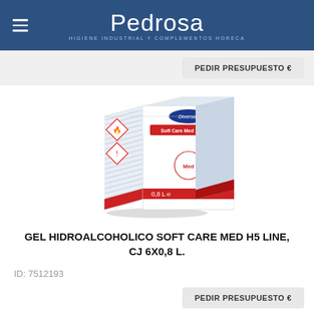Pedrosa — HIGIENE INDUSTRIAL Y COMPLEMENTOS HORECA
PEDIR PRESUPUESTO €
[Figure (photo): Product photo of Diversey Soft Care Med H5 Line hand sanitizer gel box, 0.8L, with red and white packaging, hazard symbols on left side panel]
GEL HIDROALCOHOLICO SOFT CARE MED H5 LINE, CJ 6X0,8 L.
ID: 7512193
PEDIR PRESUPUESTO €